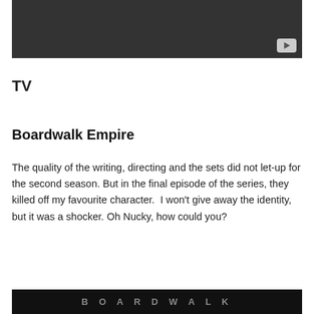[Figure (screenshot): Dark grey/black video player thumbnail with a YouTube-style play button in the bottom right corner]
TV
Boardwalk Empire
The quality of the writing, directing and the sets did not let-up for the second season. But in the final episode of the series, they killed off my favourite character.  I won't give away the identity, but it was a shocker. Oh Nucky, how could you?
[Figure (screenshot): Black banner with 'BOARDWALK' text in grey stylized letters at the bottom of the page]